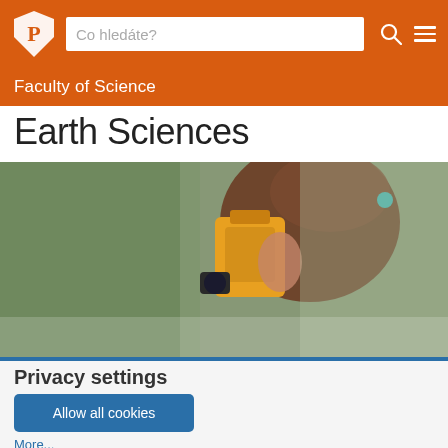[Figure (screenshot): University website header with orange navigation bar. Contains a shield/crest logo on the left, a search box with placeholder text 'Co hledáte?', and search/hamburger icons on the right.]
Faculty of Science
Earth Sciences
[Figure (photo): A young woman with brown hair in a ponytail using a yellow and grey surveying instrument (total station), with a blurred green background.]
Privacy settings
Allow all cookies
More...
The Department offers a three-year Bachelor's and a...